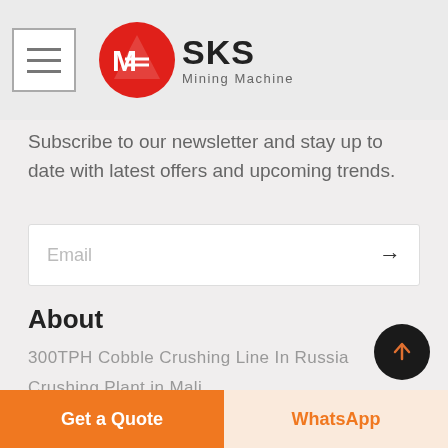SKS Mining Machine
Subscribe to our newsletter and stay up to date with latest offers and upcoming trends.
Email
About
300TPH Cobble Crushing Line In Russia
Crushing Plant in Mali
Limestone Crushing Line in Algeria
Get a Quote
WhatsApp